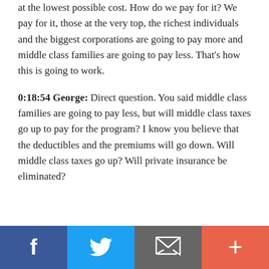at the lowest possible cost. How do we pay for it? We pay for it, those at the very top, the richest individuals and the biggest corporations are going to pay more and middle class families are going to pay less. That's how this is going to work.
0:18:54 George: Direct question. You said middle class families are going to pay less, but will middle class taxes go up to pay for the program? I know you believe that the deductibles and the premiums will go down. Will middle class taxes go up? Will private insurance be eliminated?
[Figure (infographic): Social media sharing footer bar with four buttons: Facebook (blue), Twitter (light blue), Email/envelope (gray), and More/plus (orange-red)]